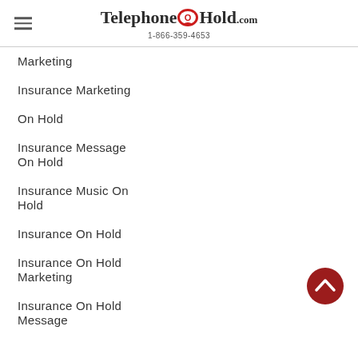TelephoneOnHold.com 1-866-359-4653
Marketing
Insurance Marketing
On Hold
Insurance Message On Hold
Insurance Music On Hold
Insurance On Hold
Insurance On Hold Marketing
Insurance On Hold Message